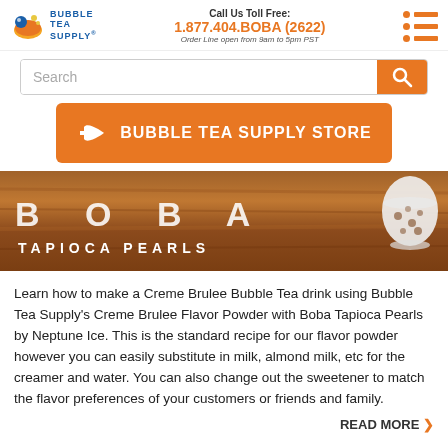Bubble Tea Supply | Call Us Toll Free: 1.877.404.BOBA (2622) | Order Line open from 9am to 5pm PST
[Figure (screenshot): Search bar with orange search button]
[Figure (infographic): Orange button with back arrow icon reading BUBBLE TEA SUPPLY STORE]
[Figure (photo): Banner image showing BOBA TAPIOCA PEARLS text on wooden background with bubble tea cup]
Learn how to make a Creme Brulee Bubble Tea drink using Bubble Tea Supply's Creme Brulee Flavor Powder with Boba Tapioca Pearls by Neptune Ice. This is the standard recipe for our flavor powder however you can easily substitute in milk, almond milk, etc for the creamer and water. You can also change out the sweetener to match the flavor preferences of your customers or friends and family.
READ MORE ❯